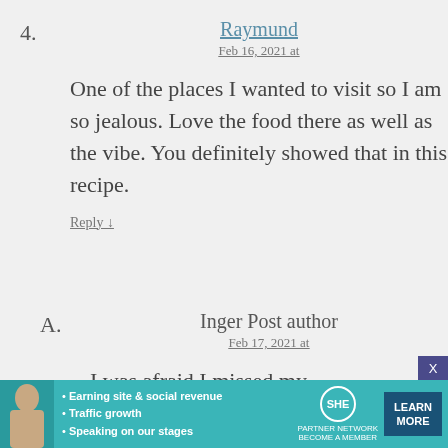4. Raymund
Feb 16, 2021 at

One of the places I wanted to visit so I am so jealous. Love the food there as well as the vibe. You definitely showed that in this recipe.

Reply ↓
A. Inger Post author
Feb 17, 2021 at

I was afraid I missed my
[Figure (infographic): Advertisement banner for SHE Partner Network featuring a woman photo, bullet points: Earning site & social revenue, Traffic growth, Speaking on our stages, SHE logo, and LEARN MORE button]